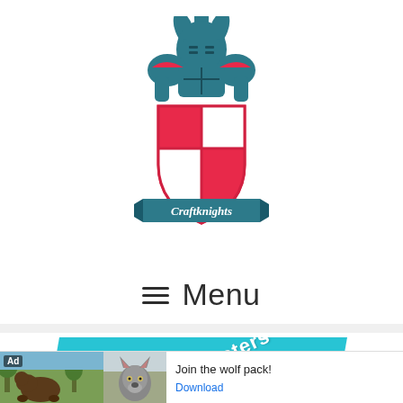[Figure (logo): Craftknights logo: a knight in armor above a red and white quartered heraldic shield, with a teal ribbon banner reading 'Craftknights' at the bottom]
≡ Menu
[Figure (illustration): Diagonal teal banner with white text reading 'ime Characters' (partially visible, full text likely 'Anime Characters')]
[Figure (screenshot): Advertisement banner: 'Ad' label, bear and wolf images on left, text 'Join the wolf pack!' and 'Download' button in blue on right]